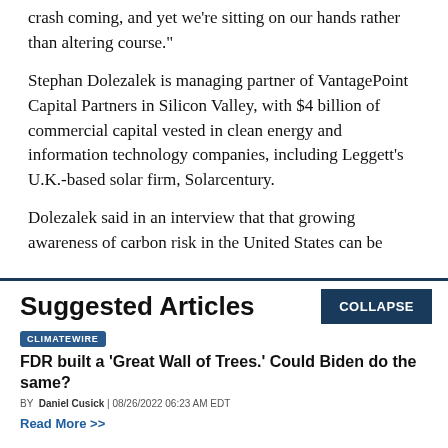crash coming, and yet we're sitting on our hands rather than altering course."
Stephan Dolezalek is managing partner of VantagePoint Capital Partners in Silicon Valley, with $4 billion of commercial capital vested in clean energy and information technology companies, including Leggett's U.K.-based solar firm, Solarcentury.
Dolezalek said in an interview that that growing awareness of carbon risk in the United States can be
Suggested Articles
CLIMATEWIRE
FDR built a ‘Great Wall of Trees.’ Could Biden do the same?
BY Daniel Cusick | 08/26/2022 06:23 AM EDT
Read More >>
CLIMATEWIRE
Calif. poised to ban sales of new gas-fueled cars by 2035